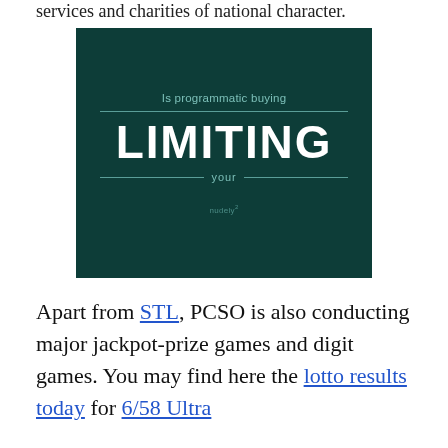services and charities of national character.
[Figure (illustration): Dark teal background advertisement image with text: 'Is programmatic buying' (small teal text), horizontal lines, 'LIMITING' (large bold white text), 'your' (small teal text between horizontal lines), and 'nudely' brand watermark at bottom.]
Apart from STL, PCSO is also conducting major jackpot-prize games and digit games. You may find here the lotto results today for 6/58 Ultra